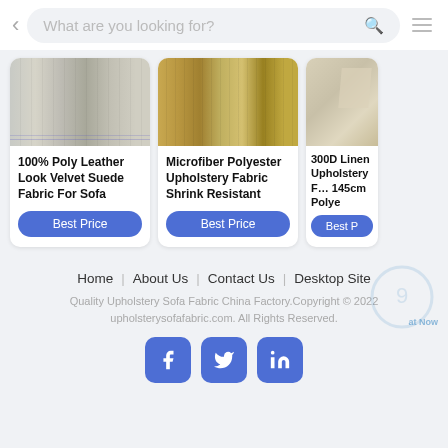What are you looking for?
[Figure (photo): Fabric swatches - grey/beige tones, 100% Poly Leather Look Velvet Suede Fabric For Sofa]
100% Poly Leather Look Velvet Suede Fabric For Sofa
Best Price
[Figure (photo): Fabric swatches - golden/tan tones, Microfiber Polyester Upholstery Fabric Shrink Resistant]
Microfiber Polyester Upholstery Fabric Shrink Resistant
Best Price
[Figure (photo): Fabric swatch - beige linen, 300D Linen Upholstery Fabric 145cm Polye]
300D Linen Upholstery Fabric 145cm Polye
Best P
Home | About Us | Contact Us | Desktop Site
Quality Upholstery Sofa Fabric China Factory.Copyright © 2022 upholsterysofafabric.com. All Rights Reserved.